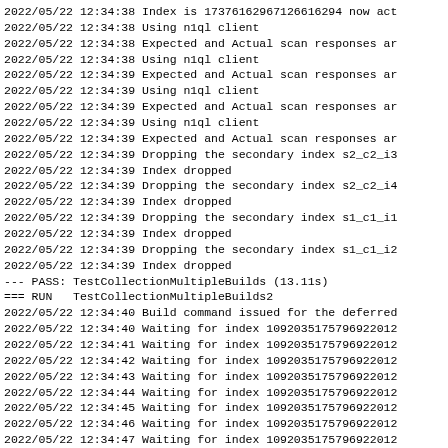2022/05/22 12:34:38 Index is 17376162967126616294 now act
2022/05/22 12:34:38 Using n1ql client
2022/05/22 12:34:38 Expected and Actual scan responses ar
2022/05/22 12:34:38 Using n1ql client
2022/05/22 12:34:39 Expected and Actual scan responses ar
2022/05/22 12:34:39 Using n1ql client
2022/05/22 12:34:39 Expected and Actual scan responses ar
2022/05/22 12:34:39 Using n1ql client
2022/05/22 12:34:39 Expected and Actual scan responses ar
2022/05/22 12:34:39 Dropping the secondary index s2_c2_i3
2022/05/22 12:34:39 Index dropped
2022/05/22 12:34:39 Dropping the secondary index s2_c2_i4
2022/05/22 12:34:39 Index dropped
2022/05/22 12:34:39 Dropping the secondary index s1_c1_i1
2022/05/22 12:34:39 Index dropped
2022/05/22 12:34:39 Dropping the secondary index s1_c1_i2
2022/05/22 12:34:39 Index dropped
--- PASS: TestCollectionMultipleBuilds (13.11s)
=== RUN   TestCollectionMultipleBuilds2
2022/05/22 12:34:40 Build command issued for the deferred
2022/05/22 12:34:40 Waiting for index 10920351757969220123
2022/05/22 12:34:41 Waiting for index 10920351757969220123
2022/05/22 12:34:42 Waiting for index 10920351757969220123
2022/05/22 12:34:43 Waiting for index 10920351757969220123
2022/05/22 12:34:44 Waiting for index 10920351757969220123
2022/05/22 12:34:45 Waiting for index 10920351757969220123
2022/05/22 12:34:46 Waiting for index 10920351757969220123
2022/05/22 12:34:47 Waiting for index 10920351757969220123
2022/05/22 12:34:48 Waiting for index 10920351757969220123
2022/05/22 12:34:49 Waiting for index 10920351757969220123